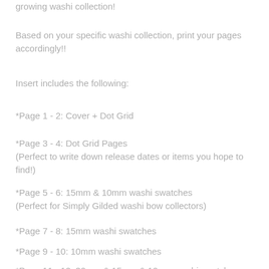growing washi collection!
Based on your specific washi collection, print your pages accordingly!!
Insert includes the following:
*Page 1 - 2: Cover + Dot Grid
*Page 3 - 4: Dot Grid Pages
(Perfect to write down release dates or items you hope to find!)
*Page 5 - 6: 15mm & 10mm washi swatches
(Perfect for Simply Gilded washi bow collectors)
*Page 7 - 8: 15mm washi swatches
*Page 9 - 10: 10mm washi swatches
*Page 11 - 12: 30mm & 15mm & 10mm washi swatches (cut)